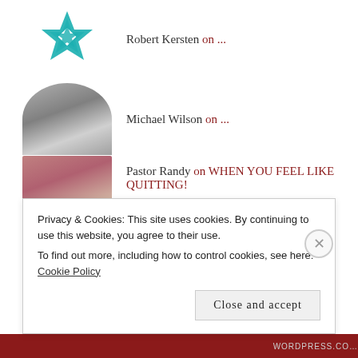Robert Kersten on ...
Michael Wilson on ...
Pastor Randy on WHEN YOU FEEL LIKE QUITTING!
ARCHIVES
August 2022
Privacy & Cookies: This site uses cookies. By continuing to use this website, you agree to their use.
To find out more, including how to control cookies, see here: Cookie Policy
Close and accept